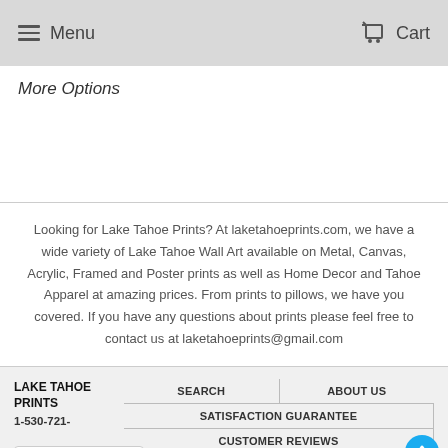Menu   Cart
More Options
Looking for Lake Tahoe Prints? At laketahoeprints.com, we have a wide variety of Lake Tahoe Wall Art available on Metal, Canvas, Acrylic, Framed and Poster prints as well as Home Decor and Tahoe Apparel at amazing prices. From prints to pillows, we have you covered. If you have any questions about prints please feel free to contact us at laketahoeprints@gmail.com
LAKE TAHOE PRINTS  1-530-721-  SEARCH  ABOUT US  SATISFACTION GUARANTEE  CUSTOMER REVIEWS  CONTACT US